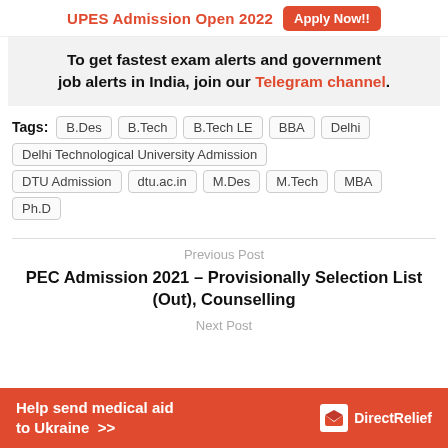UPES Admission Open 2022  Apply Now!!
To get fastest exam alerts and government job alerts in India, join our Telegram channel.
Tags: B.Des  B.Tech  B.Tech LE  BBA  Delhi  Delhi Technological University Admission  DTU Admission  dtu.ac.in  M.Des  M.Tech  MBA  Ph.D
Previous Post
PEC Admission 2021 – Provisionally Selection List (Out), Counselling
Next Post
[Figure (infographic): Orange advertisement banner: Help send medical aid to Ukraine >> with Direct Relief logo]